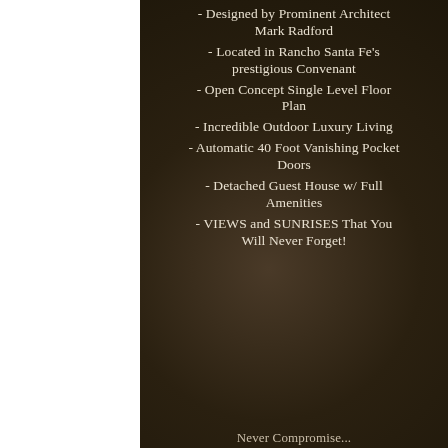- Designed by Prominent Architect Mark Radford
- Located in Rancho Santa Fe's prestigious Convenant
- Open Concept Single Level Floor Plan
- Incredible Outdoor Luxury Living
- Automatic 40 Foot Vanishing Pocket Doors
- Detached Guest House w/ Full Amenities
- VIEWS and SUNRISES That You Will Never Forget!
Never Compromise...